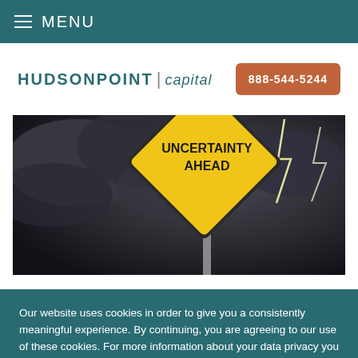MENU
HUDSONPOINT | capital
888-544-5244
[Figure (photo): A yellow diamond-shaped road sign reading 'UNCERTAINTY AHEAD' against a dramatic stormy dark sky with lightning.]
Our website uses cookies in order to give you a consistently meaningful experience. By continuing, you are agreeing to our use of these cookies. For more information about your data privacy you can visit our privacy policy page.
I Accept